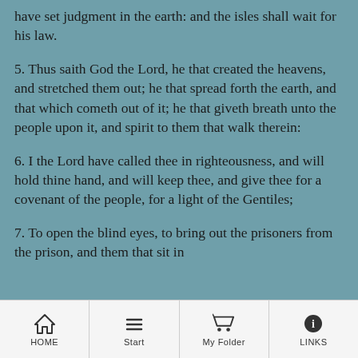have set judgment in the earth: and the isles shall wait for his law.
5. Thus saith God the Lord, he that created the heavens, and stretched them out; he that spread forth the earth, and that which cometh out of it; he that giveth breath unto the people upon it, and spirit to them that walk therein:
6. I the Lord have called thee in righteousness, and will hold thine hand, and will keep thee, and give thee for a covenant of the people, for a light of the Gentiles;
7. To open the blind eyes, to bring out the prisoners from the prison, and them that sit in
HOME | Start | My Folder | LINKS